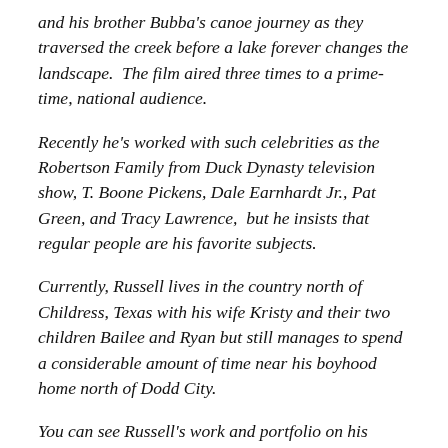and his brother Bubba's canoe journey as they traversed the creek before a lake forever changes the landscape.  The film aired three times to a prime-time, national audience.
Recently he's worked with such celebrities as the Robertson Family from Duck Dynasty television show, T. Boone Pickens, Dale Earnhardt Jr., Pat Green, and Tracy Lawrence,  but he insists that regular people are his favorite subjects.
Currently, Russell lives in the country north of Childress, Texas with his wife Kristy and their two children Bailee and Ryan but still manages to spend a considerable amount of time near his boyhood home north of Dodd City.
You can see Russell's work and portfolio on his